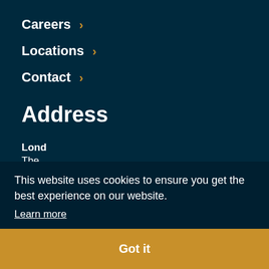Careers ›
Locations ›
Contact ›
Address
Lond
The
Ham
117 W
Lond
W1F
Man
The PHA Group
This website uses cookies to ensure you get the best experience on our website. Learn more Got it